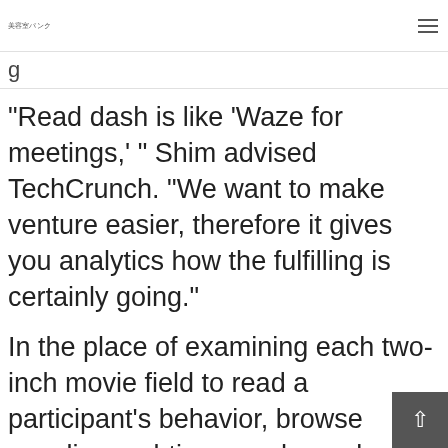美容室パンク
g
“Read dash is like ‘Waze for meetings,’ ” Shim advised TechCrunch. “We want to make venture easier, therefore it gives you analytics how the fulfilling is certainly going.”
In the place of examining each two-inch movie field to read a participant’s behavior, browse supplies real-time graphs and m that demonstrate if one of high...